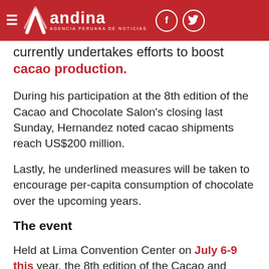andina — Agencia Peruana de Noticias
currently undertakes efforts to boost cacao production.
During his participation at the 8th edition of the Cacao and Chocolate Salon's closing last Sunday, Hernandez noted cacao shipments reach US$200 million.
Lastly, he underlined measures will be taken to encourage per-capita consumption of chocolate over the upcoming years.
The event
Held at Lima Convention Center on July 6-9 this year, the 8th edition of the Cacao and Chocolate